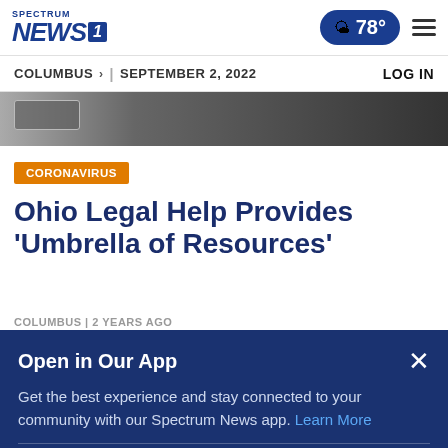Spectrum NEWS1 | 78° | Menu
COLUMBUS > | SEPTEMBER 2, 2022 | LOG IN
[Figure (photo): Dark hero image strip with a small gray button overlay on the left]
CORONAVIRUS
Ohio Legal Help Provides 'Umbrella of Resources'
COLUMBUS | 2 YEARS AGO
Open in Our App
Get the best experience and stay connected to your community with our Spectrum News app. Learn More
Open in Spectrum News App
Continue in Browser